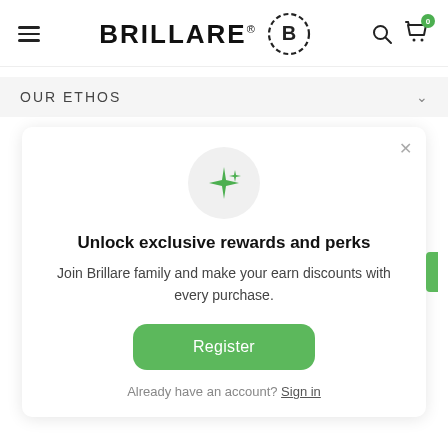BRILLARE — navigation header with hamburger menu, logo, search icon, and cart icon with badge 0
OUR ETHOS
[Figure (infographic): Green sparkle/star icon inside a light grey circle]
Unlock exclusive rewards and perks
Join Brillare family and make your earn discounts with every purchase.
Register
Already have an account? Sign in